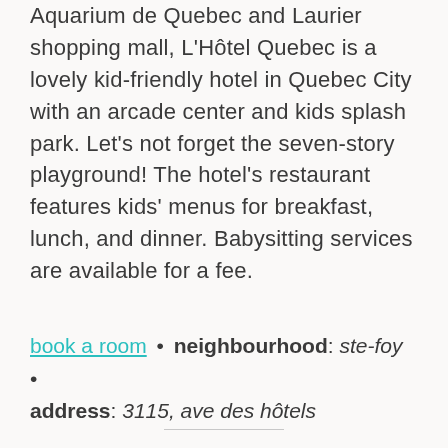Aquarium de Quebec and Laurier shopping mall, L'Hôtel Quebec is a lovely kid-friendly hotel in Quebec City with an arcade center and kids splash park. Let's not forget the seven-story playground! The hotel's restaurant features kids' menus for breakfast, lunch, and dinner. Babysitting services are available for a fee.
book a room • neighbourhood: ste-foy • address: 3115, ave des hôtels